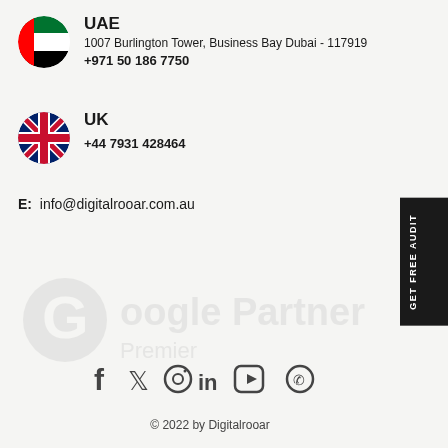[Figure (illustration): UAE flag circle icon]
UAE
1007 Burlington Tower, Business Bay Dubai - 117919
+971 50 186 7750
[Figure (illustration): UK flag circle icon]
UK
+44 7931 428464
E:  info@digitalrooar.com.au
[Figure (illustration): Faded Google Partner / Partner logo watermark]
[Figure (illustration): Social media icons: Facebook, Twitter, Instagram, LinkedIn, YouTube, WhatsApp]
© 2022 by Digitalrooar